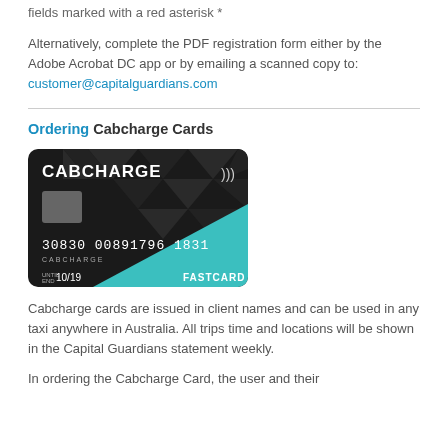fields marked with a red asterisk *
Alternatively, complete the PDF registration form either by the Adobe Acrobat DC app or by emailing a scanned copy to: customer@capitalguardians.com
[Figure (photo): Cabcharge FASTCARD credit card image showing card number 30830 00891796 1831, expiry 10/19, with teal and dark geometric design]
Ordering Cabcharge Cards
Cabcharge cards are issued in client names and can be used in any taxi anywhere in Australia. All trips time and locations will be shown in the Capital Guardians statement weekly.
In ordering the Cabcharge Card, the user and their